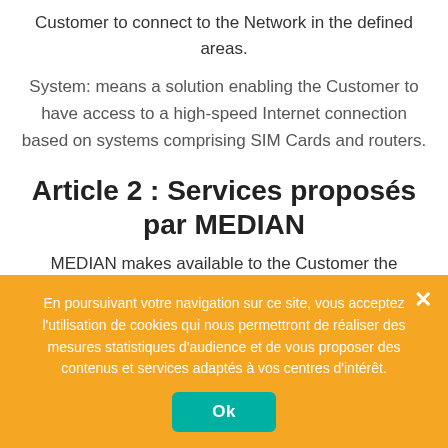Customer to connect to the Network in the defined areas.
System: means a solution enabling the Customer to have access to a high-speed Internet connection based on systems comprising SIM Cards and routers.
Article 2 : Services proposés par MEDIAN
MEDIAN makes available to the Customer the
En poursuivant votre navigation sur ce site, vous acceptez l'utilisation de cookies qui nous permettront de réaliser des mesures statistiques d'audience et de vous proposer des contenus et services adaptés à vos centres d'intérêt.
Ok